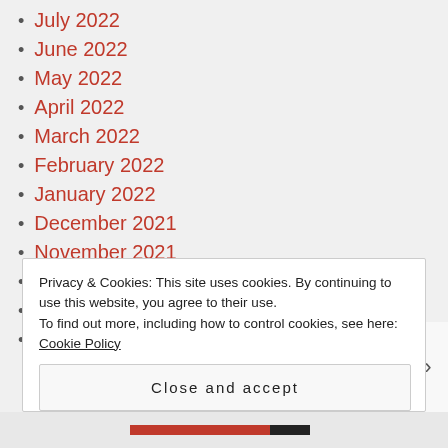July 2022
June 2022
May 2022
April 2022
March 2022
February 2022
January 2022
December 2021
November 2021
October 2021
September 2021
August 2021
Privacy & Cookies: This site uses cookies. By continuing to use this website, you agree to their use.
To find out more, including how to control cookies, see here: Cookie Policy
Close and accept